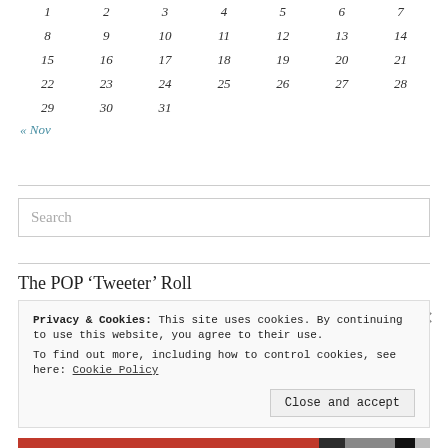| 1 | 2 | 3 | 4 | 5 | 6 | 7 |
| 8 | 9 | 10 | 11 | 12 | 13 | 14 |
| 15 | 16 | 17 | 18 | 19 | 20 | 21 |
| 22 | 23 | 24 | 25 | 26 | 27 | 28 |
| 29 | 30 | 31 |  |  |  |  |
« Nov
Search
The POP ‘Tweeter’ Roll
Privacy & Cookies: This site uses cookies. By continuing to use this website, you agree to their use.
To find out more, including how to control cookies, see here: Cookie Policy
Close and accept